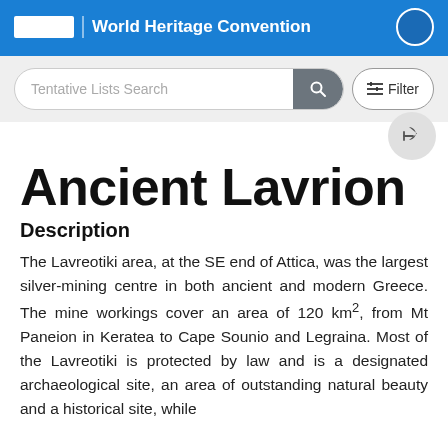World Heritage Convention
Tentative Lists Search
Ancient Lavrion
Description
The Lavreotiki area, at the SE end of Attica, was the largest silver-mining centre in both ancient and modern Greece. The mine workings cover an area of 120 km², from Mt Paneion in Keratea to Cape Sounio and Legraina. Most of the Lavreotiki is protected by law and is a designated archaeological site, an area of outstanding natural beauty and a historical site, while